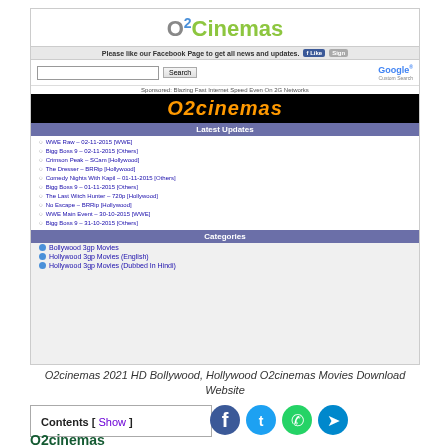[Figure (screenshot): Screenshot of O2Cinemas website showing logo, search bar, Facebook bar, sponsor banner, Latest Updates section with movie list, and Categories section]
O2cinemas 2021 HD Bollywood, Hollywood O2cinemas Movies Download Website
Contents [ Show ]
[Figure (illustration): Social media icons: Facebook, Twitter, WhatsApp, Telegram]
O2cinemas